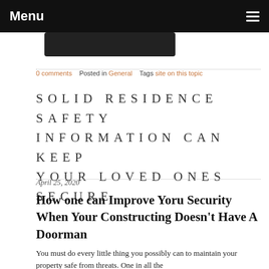Menu
0 comments   Posted in General   Tags site on this topic
SOLID RESIDENCE SAFETY INFORMATION CAN KEEP YOUR LOVED ONES SECURE
April 25, 2020
How one can Improve Yoru Security When Your Constructing Doesn't Have A Doorman
You must do every little thing you possibly can to maintain your property safe from threats. One in all the